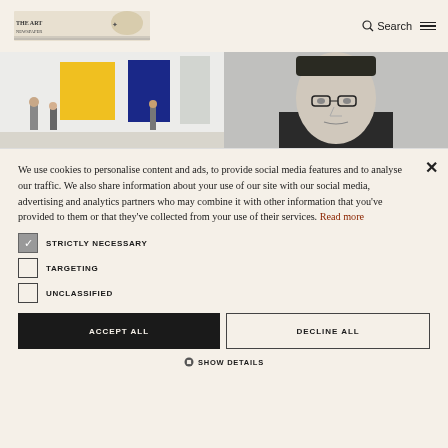Search [logo] [hamburger menu]
[Figure (photo): Gallery interior with yellow and blue artworks on white walls, visitors in background]
[Figure (photo): Black and white portrait photo of a man wearing glasses]
We use cookies to personalise content and ads, to provide social media features and to analyse our traffic. We also share information about your use of our site with our social media, advertising and analytics partners who may combine it with other information that you've provided to them or that they've collected from your use of their services. Read more
STRICTLY NECESSARY
TARGETING
UNCLASSIFIED
ACCEPT ALL
DECLINE ALL
SHOW DETAILS